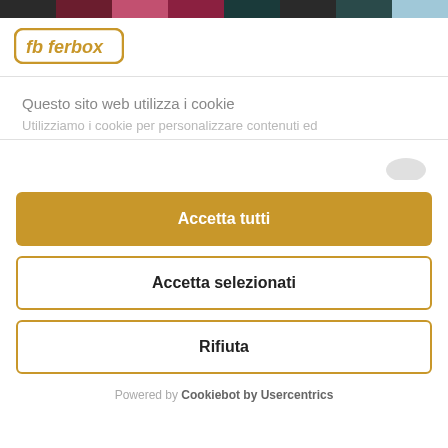[Figure (other): Color swatch bar at the top with multiple colors including dark grey, maroon, pink, dark teal, and light blue segments]
[Figure (logo): fb Ferbox logo in golden/orange color with rounded rectangle border]
Questo sito web utilizza i cookie
Utilizziamo i cookie per personalizzare contenuti ed
Accetta tutti
Accetta selezionati
Rifiuta
Powered by Cookiebot by Usercentrics